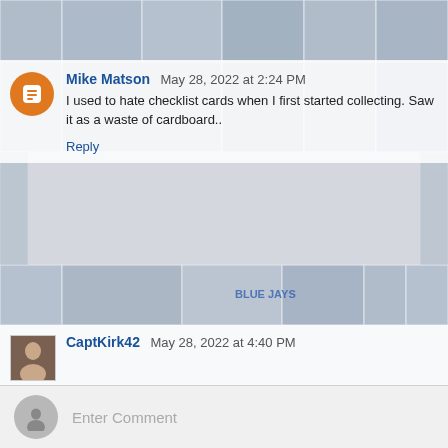[Figure (photo): Background collage of sports trading cards (baseball and hockey cards) arranged in a grid pattern, faded/semi-transparent]
Mike Matson  May 28, 2022 at 2:24 PM
I used to hate checklist cards when I first started collecting. Saw it as a waste of cardboard..
Reply
CaptKirk42  May 28, 2022 at 4:40 PM
I am the same way with checklist cards. AS a kid I abused the checklist cards with my marking them up. I would even mark up all of the puzzle cards in the wacky packages puzzle cards when only using one would do. Fast forward to now. I too try to go for unmarked checklist cards when possible. Pre-1980s cards I am acceptable on anything from say 1985 and newer not so much.
Reply
Enter Comment